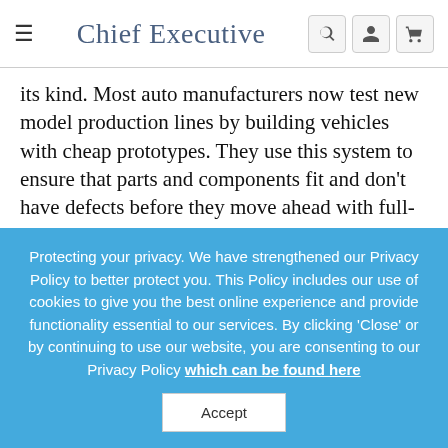Chief Executive
its kind. Most auto manufacturers now test new model production lines by building vehicles with cheap prototypes. They use this system to ensure that parts and components fit and don't have defects before they move ahead with full-scale production. Tesla is skipping the entire step and ordering permanent, more expensive equipment to outfit its Model 3 sedan with the actual components
Protecting your privacy. We have strengthened our Privacy Policy to better protect you. This Policy includes our use of cookies to give you the best online experience and provide functionality essential to our services. By clicking 'Close' or by continuing to use our website, you are consenting to our Privacy Policy which can be found here
Accept